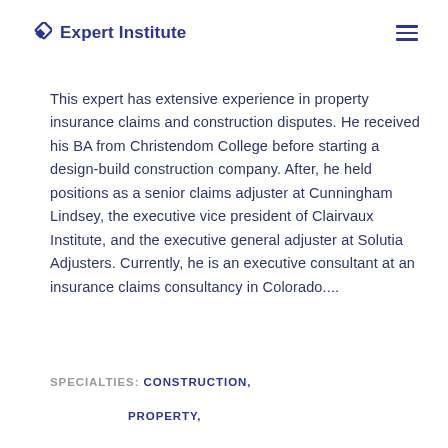Expert Institute
This expert has extensive experience in property insurance claims and construction disputes. He received his BA from Christendom College before starting a design-build construction company. After, he held positions as a senior claims adjuster at Cunningham Lindsey, the executive vice president of Clairvaux Institute, and the executive general adjuster at Solutia Adjusters. Currently, he is an executive consultant at an insurance claims consultancy in Colorado....
SPECIALTIES: CONSTRUCTION,
PROPERTY,